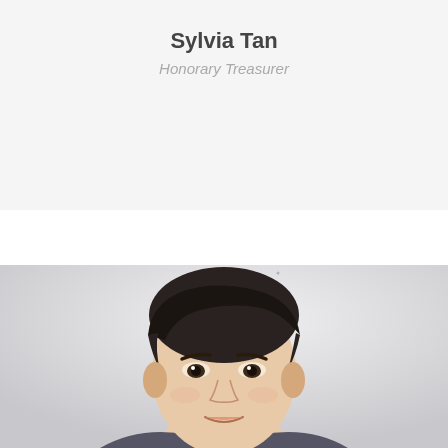Sylvia Tan
Honorary Treasurer
[Figure (photo): Portrait photo of a young Asian man in a dark suit, smiling, against a light grey background. The photo fills the lower half of the page.]